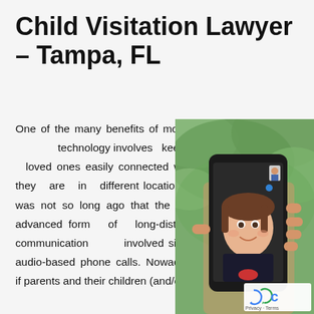Child Visitation Lawyer – Tampa, FL
One of the many benefits of modern technology involves keeping loved ones easily connected when they are in different locations. It was not so long ago that the most advanced form of long-distance communication involved simple audio-based phone calls. Nowadays, if parents and their children (and/or
[Figure (photo): A hand holding a smartphone displaying a video call with a young girl making a funny face, and a man visible in a small thumbnail. Background shows blurred green foliage. A reCAPTCHA badge is visible in the bottom right corner.]